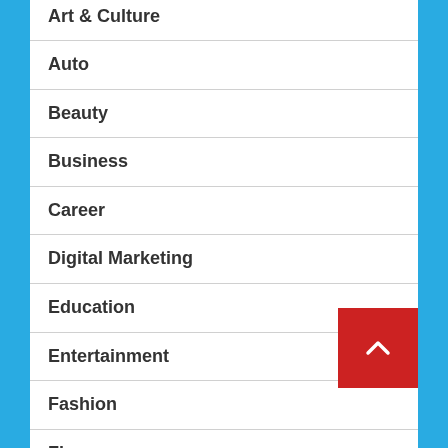Art & Culture
Auto
Beauty
Business
Career
Digital Marketing
Education
Entertainment
Fashion
Finance
Gadget
Game
General